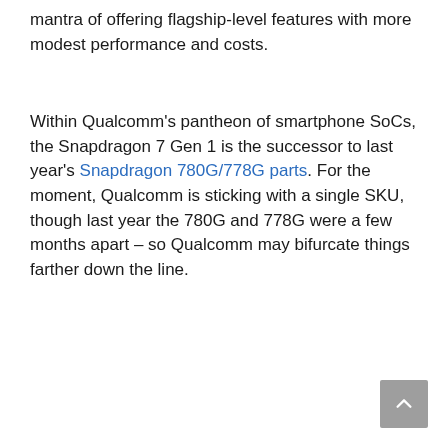mantra of offering flagship-level features with more modest performance and costs.
Within Qualcomm's pantheon of smartphone SoCs, the Snapdragon 7 Gen 1 is the successor to last year's Snapdragon 780G/778G parts. For the moment, Qualcomm is sticking with a single SKU, though last year the 780G and 778G were a few months apart – so Qualcomm may bifurcate things farther down the line.